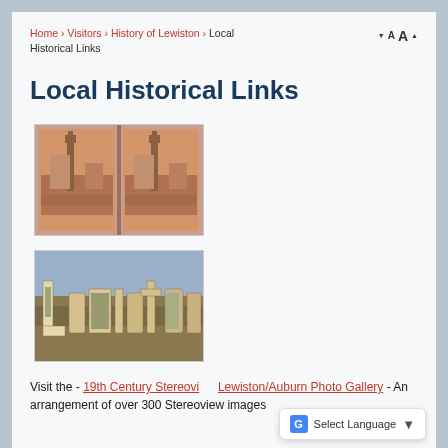Home › Visitors › History of Lewiston › Local Historical Links
Local Historical Links
[Figure (photo): Stereoview image showing a dual-photograph of a historic cityscape with church spires, tinted in sepia/red tones.]
[Figure (photo): A decorative postcard-style image spelling out 'Lewiston' with scenic landscape photographs inset into the letters.]
Visit the - 19th Century Stereoview Lewiston/Auburn Photo Gallery - An arrangement of over 300 Stereoview images